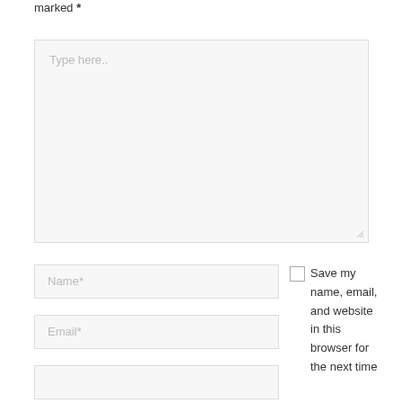marked *
[Figure (screenshot): A large textarea input field with placeholder text 'Type here..' and a resize handle in the bottom-right corner. Background is light gray.]
[Figure (screenshot): A text input field with placeholder 'Name*']
[Figure (screenshot): A text input field with placeholder 'Email*']
[Figure (screenshot): A partially visible text input field at the bottom of the page]
Save my name, email, and website in this browser for the next time